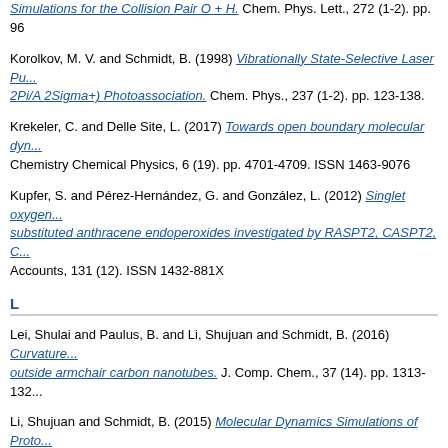Simulations for the Collision Pair O + H. Chem. Phys. Lett., 272 (1-2). pp. 96
Korolkov, M. V. and Schmidt, B. (1998) Vibrationally State-Selective Laser Pu... 2Pi/A 2Sigma+) Photoassociation. Chem. Phys., 237 (1-2). pp. 123-138.
Krekeler, C. and Delle Site, L. (2017) Towards open boundary molecular dyn... Chemistry Chemical Physics, 6 (19). pp. 4701-4709. ISSN 1463-9076
Kupfer, S. and Pérez-Hernández, G. and González, L. (2012) Singlet oxygen... substituted anthracene endoperoxides investigated by RASPT2, CASPT2, C... Accounts, 131 (12). ISSN 1432-881X
L
Lei, Shulai and Paulus, B. and Li, Shujuan and Schmidt, B. (2016) Curvature... outside armchair carbon nanotubes. J. Comp. Chem., 37 (14). pp. 1313-132...
Li, Shujuan and Schmidt, B. (2015) Molecular Dynamics Simulations of Proto... Carbon Nanotubes. Phys. Chem. Chem. Phys., 17 (11). pp. 7303-7316.
Li, Shujuan and Schmidt, B. (2019) Replica exchange MD simulations of Two... Nanocapillaries: Rhombic Versus Square Structures, Proton Ordering, and P... (32). pp. 17640-17654.
Liuti, G. and Pirani, F. and Buck, U. and Schmidt, B. (1988) Methane-Rare G... Experiments. Chem. Phys., 126 (1). pp. 1-6.
M